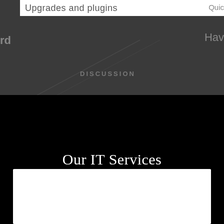[Figure (screenshot): Top banner showing a partial website UI with a white navigation bar containing text 'Upgrades and plugins' with a red pipe character, partial text 'rd' on left, 'Hav' on right, 'DISCUSSION' text overlay, diagonal lines, and dark gray background.]
Our IT Services
[Figure (screenshot): White card/panel element at the bottom of the black section.]